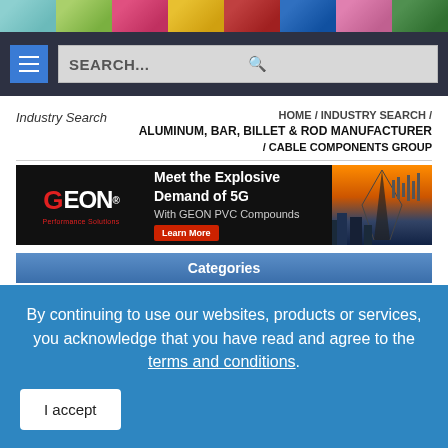[Figure (screenshot): Colored wire strip with 8 panels: teal, green, pink/red, yellow, dark red, blue, pink, dark green]
[Figure (screenshot): Navigation bar with dark background, blue menu button with hamburger icon, and search box with SEARCH... placeholder and magnifying glass icon]
Industry Search
HOME / INDUSTRY SEARCH / ALUMINUM, BAR, BILLET & ROD MANUFACTURER / CABLE COMPONENTS GROUP
[Figure (screenshot): GEON Performance Solutions advertisement banner: Meet the Explosive Demand of 5G With GEON PVC Compounds – Learn More]
Categories
By continuing to use our websites, products or services, you acknowledge that you have read and agree to the terms and conditions.
I accept